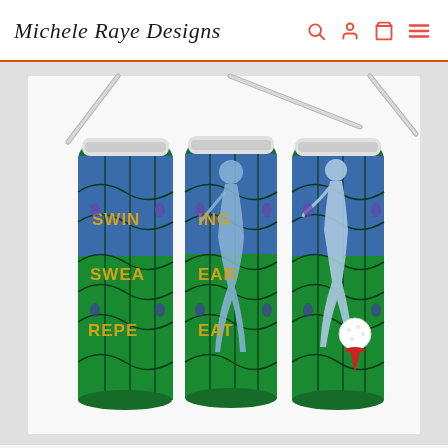Michele Raye Designs
[Figure (photo): Three stainless steel skinny tumblers with metal straws shown from different angles. Each tumbler features a stained-glass style design with blue, green, and black mosaic pattern. The tumblers display text reading 'SWING SWEAR REPEAT' in gold/yellow lettering, and silhouettes of a golfer mid-swing, plus a golf ball on a red tee. The left and center tumblers show partial text, the right shows the full golf scene.]